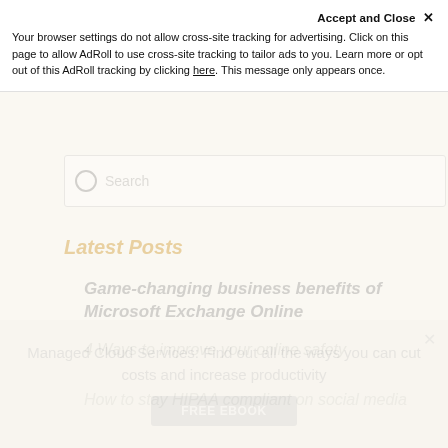Accept and Close ×
Your browser settings do not allow cross-site tracking for advertising. Click on this page to allow AdRoll to use cross-site tracking to tailor ads to you. Learn more or opt out of this AdRoll tracking by clicking here. This message only appears once.
[Figure (screenshot): Faded background of a webpage showing a search box, 'Latest Posts' heading, and three blurred post titles about Microsoft Exchange Online, online safety, and social media compliance. A bottom CTA banner for 'Managed Cloud Services' with a FREE EBOOK button is visible.]